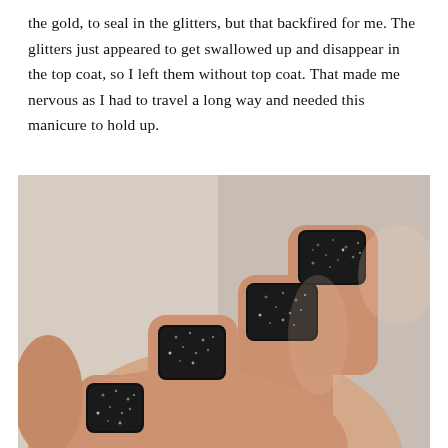the gold, to seal in the glitters, but that backfired for me. The glitters just appeared to get swallowed up and disappear in the top coat, so I left them without top coat. That made me nervous as I had to travel a long way and needed this manicure to hold up.
[Figure (photo): Close-up photo of a hand with four fingers showing black glitter nail polish on square-shaped nails against a light background.]